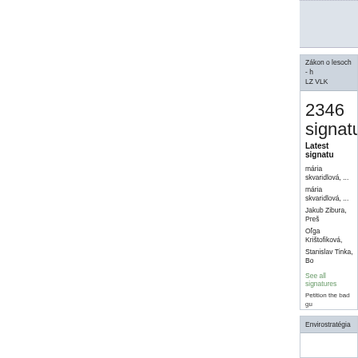Zákon o lesoch - h...
LZ VLK
2346 signatu...
Latest signatu...
mária skvaridlová, ...
mária skvaridlová, ...
Jakub Zibura, Preš...
Oľga Krištofiková, ...
Stanislav Tinka, Bo...
See all signatures
Petition the bad gu... things! By adding y... you'll be joining the... good guys saying '...
Envirostratégia